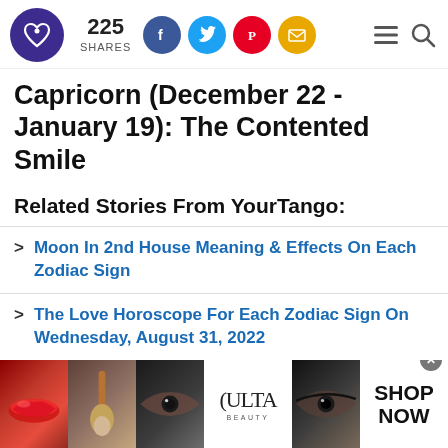225 SHARES — YourTango social sharing header with logo, Facebook, Twitter, Pinterest, email buttons
Capricorn (December 22 - January 19): The Contented Smile
Related Stories From YourTango:
Moon In 2nd House Meaning & Effects On Each Zodiac Sign
The Love Horoscope For Each Zodiac Sign On Wednesday, August 31, 2022
[Figure (photo): Ulta Beauty advertisement banner with makeup imagery (lips, brush, eyes) and SHOP NOW call to action]